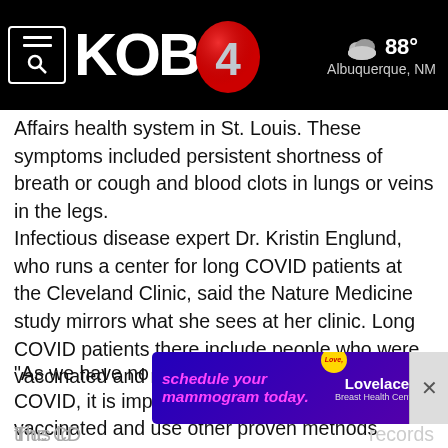[Figure (logo): KOB 4 news station header with menu/search icon on left, KOB4 logo in center, weather icon showing 88 degrees and Albuquerque, NM on the right, all on black background]
Affairs health system in St. Louis. These symptoms included persistent shortness of breath or cough and blood clots in lungs or veins in the legs.
Infectious disease expert Dr. Kristin Englund, who runs a center for long COVID patients at the Cleveland Clinic, said the Nature Medicine study mirrors what she sees at her clinic. Long COVID patients there include people who were vaccinated and received boosters.
“As we have no clear treatments for long COVID, it is important for everyone to get vaccinated and use other proven methods of prevention such as masking and social distancing in order to prevent infections with COVID and thus lo…
The CD… records
[Figure (screenshot): Advertisement banner: 'schedule your mammogram today.' with Lovelace Breast Health Center branding on purple background]